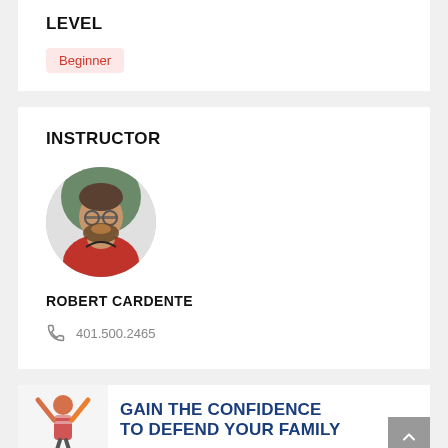LEVEL
Beginner
INSTRUCTOR
[Figure (photo): Circular profile photo of Robert Cardente, a bearded man wearing glasses and a red shirt, with a green background]
ROBERT CARDENTE
401.500.2465
GAIN THE CONFIDENCE TO DEFEND YOUR FAMILY